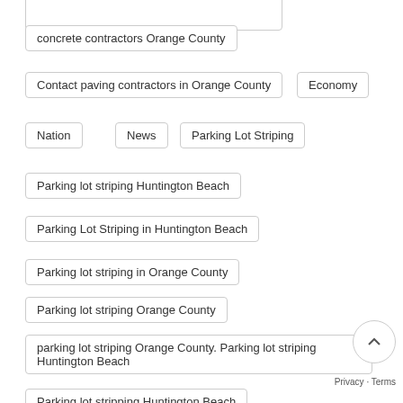concrete contractors Orange County
Contact paving contractors in Orange County
Economy
Nation
News
Parking Lot Striping
Parking lot striping Huntington Beach
Parking Lot Striping in Huntington Beach
Parking lot striping in Orange County
Parking lot striping Orange County
parking lot striping Orange County. Parking lot striping Huntington Beach
Parking lot stripping Huntington Beach